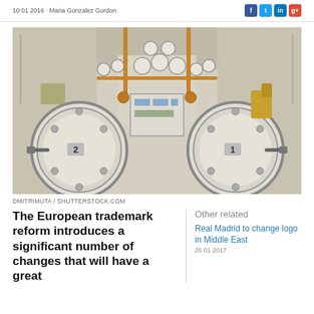10 01 2016  Maria Gonzalez Gordon
[Figure (photo): Interior of a submarine torpedo room showing large circular torpedo tube hatches numbered 1 and 2, with numerous gauges, copper pipes, valves and mechanical equipment on the walls and ceiling]
DMITRIMUTA / SHUTTERSTOCK.COM
The European trademark reform introduces a significant number of changes that will have a great
Other related
Real Madrid to change logo in Middle East
26 01 2017